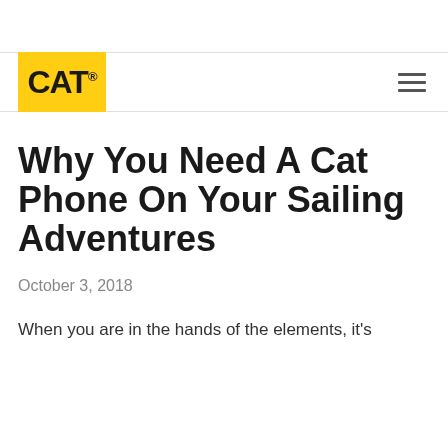[Figure (logo): CAT (Caterpillar) logo — yellow rectangle with bold black CAT® text]
Why You Need A Cat Phone On Your Sailing Adventures
October 3, 2018
When you are in the hands of the elements, it's